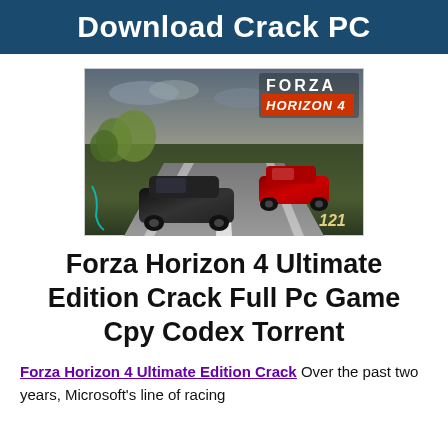Download Crack PC
[Figure (screenshot): Forza Horizon 4 gameplay screenshot showing racing cars on a road with autumn scenery, FORZA HORIZON 4 logo in top right corner, speed indicator showing 121]
Forza Horizon 4 Ultimate Edition Crack Full Pc Game Cpy Codex Torrent
Forza Horizon 4 Ultimate Edition Crack Over the past two years, Microsoft's line of racing